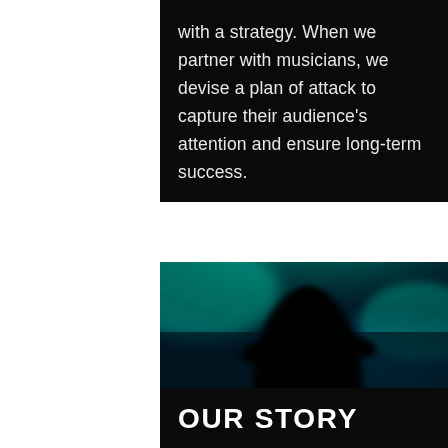with a strategy. When we partner with musicians, we devise a plan of attack to capture their audience's attention and ensure long-term success.
[Figure (photo): Blurred silhouette of a person on stage with teal/cyan and blue stage lighting in the background, creating an atmospheric concert scene.]
OUR STORY